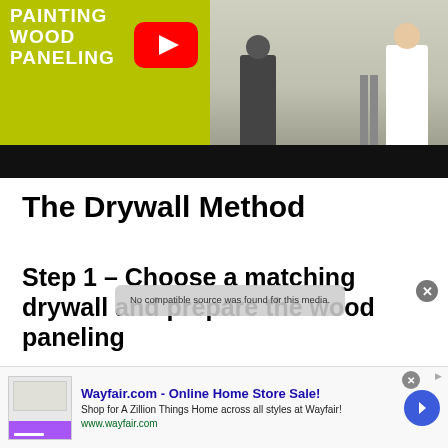[Figure (screenshot): YouTube video thumbnail for 'Painting Wood Paneling' showing a yellow-green graphic with white text on the left and a photo of people painting on the right, with a YouTube play button overlay. Black bar at bottom.]
The Drywall Method
Step 1 – Choose a matching drywall and prepare the wood paneling
[Figure (screenshot): Wayfair.com online advertisement banner showing store image, ad title 'Wayfair.com - Online Home Store Sale!', description 'Shop for A Zillion Things Home across all styles at Wayfair!', URL www.wayfair.com, and a blue circular arrow button.]